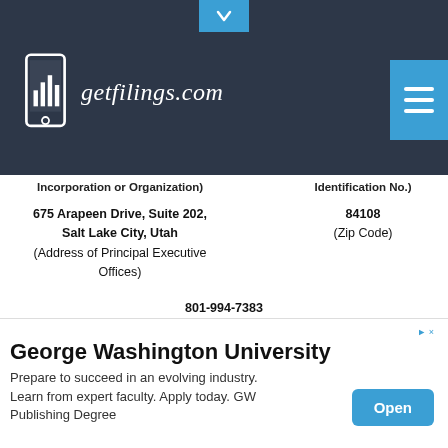[Figure (logo): getfilings.com logo with mobile phone icon on dark navy header bar]
Incorporation or Organization)
Identification No.)
675 Arapeen Drive, Suite 202,
Salt Lake City, Utah
(Address of Principal Executive Offices)
84108
(Zip Code)
801-994-7383
(Registrant's telephone number, including area code)
Securities registered pursuant to Section 12(b) of the Act:
| tle of Each Class | Trading | Name of Each Exchange |
| --- | --- | --- |
George Washington University
Prepare to succeed in an evolving industry. Learn from expert faculty. Apply today. GW Publishing Degree